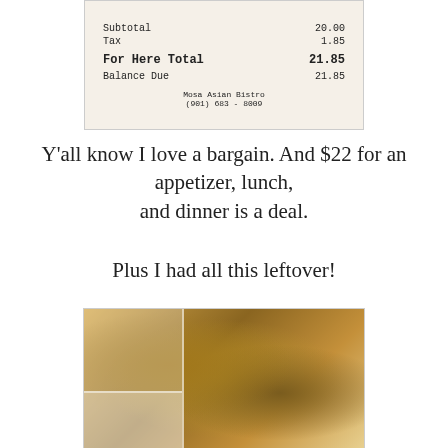[Figure (photo): A restaurant receipt showing Subtotal 20.00, Tax 1.85, For Here Total 21.85, Balance Due 21.85, from Mosa Asian Bistro (901) 683-8009]
Y'all know I love a bargain. And $22 for an appetizer, lunch, and dinner is a deal.
Plus I had all this leftover!
[Figure (photo): A takeout food container with leftover Asian food including noodles with vegetables and meat, and an appetizer in the smaller compartment]